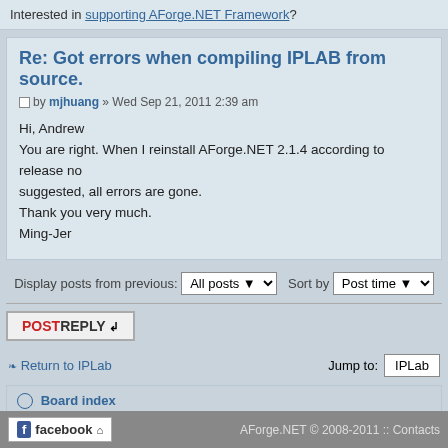Interested in supporting AForge.NET Framework?
Re: Got errors when compiling IPLAB from source.
by mjhuang » Wed Sep 21, 2011 2:39 am
Hi, Andrew
You are right. When I reinstall AForge.NET 2.1.4 according to release notes suggested, all errors are gone.
Thank you very much.
Ming-Jer
Display posts from previous: All posts Sort by Post time
POST REPLY
Return to IPLab
Jump to: IPLab
Board index
Powered by phpBB © 2000, 2002, 2005, 2007 phpBB
AForge.NET © 2008-2011 :: Contacts